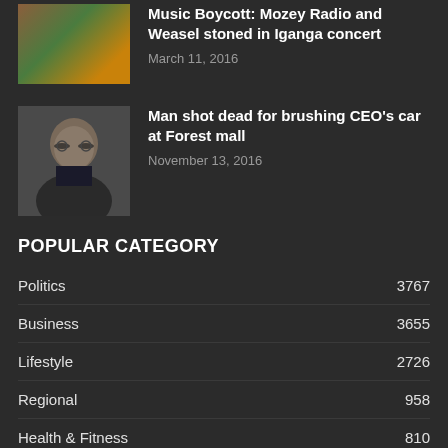[Figure (photo): Person in floral shirt - thumbnail for music boycott article]
Music Boycott: Mozey Radio and Weasel stoned in Iganga concert
March 11, 2016
[Figure (photo): Man in suit with glasses smiling - thumbnail for shooting article]
Man shot dead for brushing CEO's car at Forest mall
November 13, 2016
POPULAR CATEGORY
Politics  3767
Business  3655
Lifestyle  2726
Regional  958
Health & Fitness  810
Entertainment  466
Environment  346